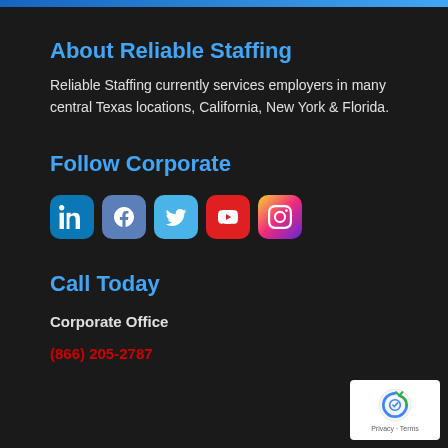About Reliable Staffing
Reliable Staffing currently services employers in many central Texas locations, California, New York & Florida.
Follow Corporate
[Figure (illustration): Social media icons for LinkedIn, Facebook, Twitter, YouTube, and Instagram]
Call Today
Corporate Office
(866) 205-2787
[Figure (logo): Google reCAPTCHA badge with Privacy and Terms links]